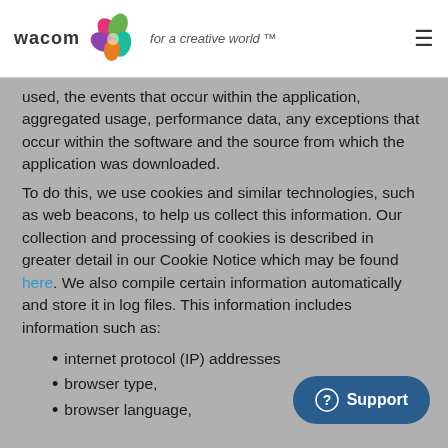Wacom – for a creative world™
used, the events that occur within the application, aggregated usage, performance data, any exceptions that occur within the software and the source from which the application was downloaded.
To do this, we use cookies and similar technologies, such as web beacons, to help us collect this information. Our collection and processing of cookies is described in greater detail in our Cookie Notice which may be found here. We also compile certain information automatically and store it in log files. This information includes information such as:
internet protocol (IP) addresses
browser type,
browser language,